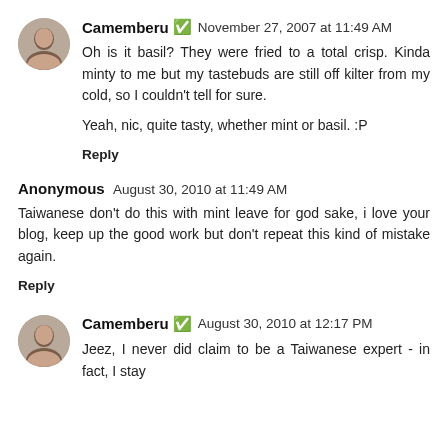Camemberu ✔ November 27, 2007 at 11:49 AM
Oh is it basil? They were fried to a total crisp. Kinda minty to me but my tastebuds are still off kilter from my cold, so I couldn't tell for sure.

Yeah, nic, quite tasty, whether mint or basil. :P
Reply
Anonymous  August 30, 2010 at 11:49 AM
Taiwanese don't do this with mint leave for god sake, i love your blog, keep up the good work but don't repeat this kind of mistake again.
Reply
Camemberu ✔ August 30, 2010 at 12:17 PM
Jeez, I never did claim to be a Taiwanese expert - in fact, I stay